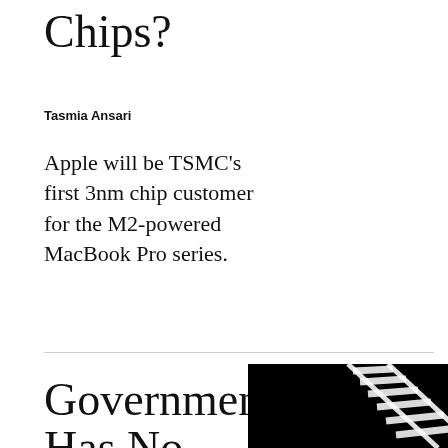Chips?
Tasmia Ansari
Apple will be TSMC’s first 3nm chip customer for the M2-powered MacBook Pro series.
Government Has No
[Figure (photo): Black and white image showing railroad tracks at an angle, with white tie/sleeper details visible against a black background.]